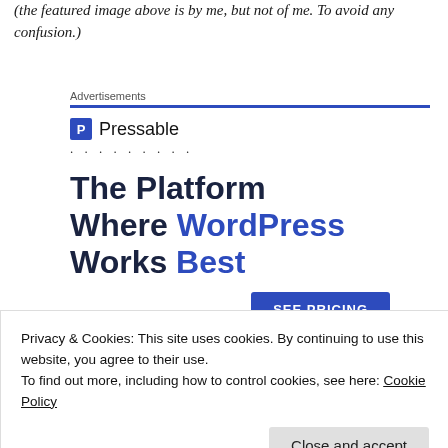(the featured image above is by me, but not of me. To avoid any confusion.)
[Figure (infographic): Pressable advertisement banner with logo (P icon and Pressable text), dotted separator, large bold headline 'The Platform Where WordPress Works Best', and a blue 'SEE PRICING' button.]
Privacy & Cookies: This site uses cookies. By continuing to use this website, you agree to their use.
To find out more, including how to control cookies, see here: Cookie Policy
Close and accept